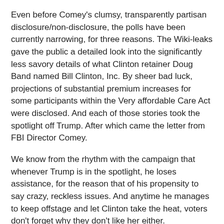Even before Comey's clumsy, transparently partisan disclosure/non-disclosure, the polls have been currently narrowing, for three reasons. The Wiki-leaks gave the public a detailed look into the significantly less savory details of what Clinton retainer Doug Band named Bill Clinton, Inc. By sheer bad luck, projections of substantial premium increases for some participants within the Very affordable Care Act were disclosed. And each of those stories took the spotlight off Trump. After which came the letter from FBI Director Comey.
We know from the rhythm with the campaign that whenever Trump is in the spotlight, he loses assistance, for the reason that of his propensity to say crazy, reckless issues. And anytime he manages to keep offstage and let Clinton take the heat, voters don't forget why they don't like her either.
For numerous days, Clinton defenders have been frantically trying to rebut the details of those newest unflattering revelations. The details are on their side. But that may not matter.